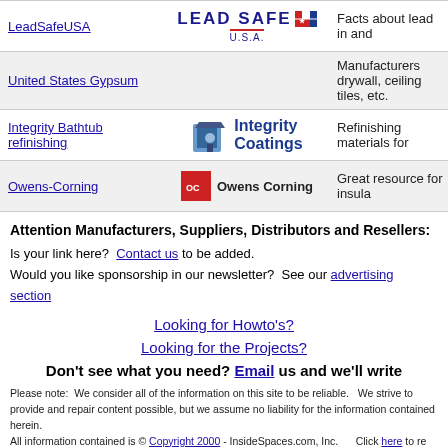| Link | Logo | Description |
| --- | --- | --- |
| LeadSafeUSA | LEAD SAFE U.S.A. logo | Facts about lead in and |
| United States Gypsum |  | Manufacturers drywall, ceiling tiles, etc. |
| Integrity Bathtub refinishing | Integrity Coatings logo | Refinishing materials for |
| Owens-Corning | Owens Corning logo | Great resource for insula |
Attention Manufacturers, Suppliers, Distributors and Resellers:
Is your link here? Contact us to be added.
Would you like sponsorship in our newsletter? See our advertising section
Looking for Howto's?
Looking for the Projects?
Don't see what you need? Email us and we'll write
Please note: We consider all of the information on this site to be reliable. We strive to provide and repair content possible, but we assume no liability for the information contained herein. All information contained is © Copyright 2000 - InsideSpaces.com, Inc. Click here to re